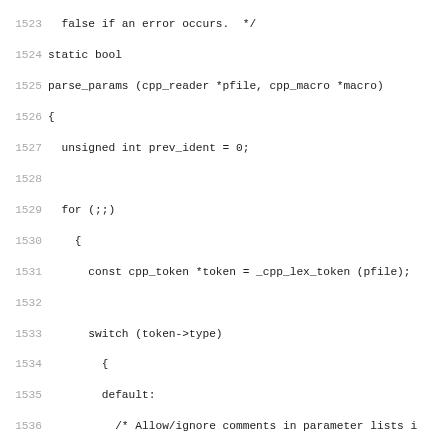Source code listing, lines 1523–1554, C/C++ preprocessor code (parse_params function)